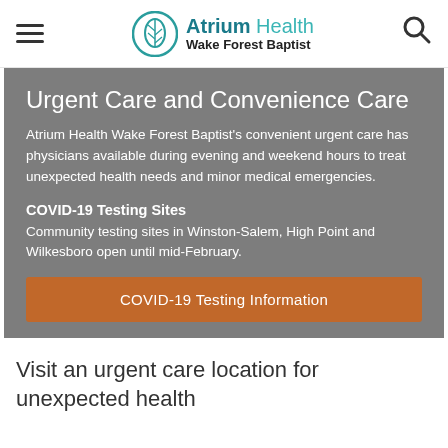[Figure (logo): Atrium Health Wake Forest Baptist logo with teal leaf icon]
Urgent Care and Convenience Care
Atrium Health Wake Forest Baptist's convenient urgent care has physicians available during evening and weekend hours to treat unexpected health needs and minor medical emergencies.
COVID-19 Testing Sites
Community testing sites in Winston-Salem, High Point and Wilkesboro open until mid-February.
COVID-19 Testing Information
Visit an urgent care location for unexpected health